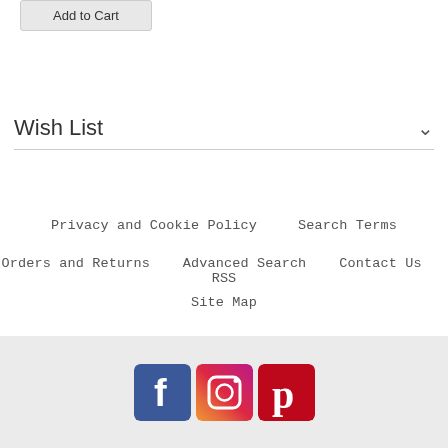Add to Cart
Wish List
Privacy and Cookie Policy   Search Terms
Orders and Returns   Advanced Search   Contact Us   RSS
Site Map
[Figure (logo): Social media icons: Facebook, Instagram, Pinterest]